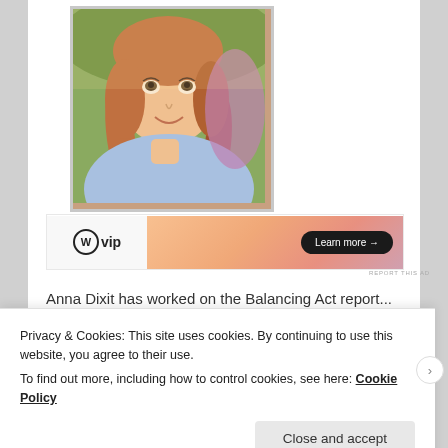[Figure (photo): Selfie of a young woman with reddish-blonde hair in braided pigtails, wearing a light blue hoodie, smiling at camera outdoors]
[Figure (other): WordPress VIP advertisement banner with logo on white background on left and orange-pink gradient on right with 'Learn more' button]
REPORT THIS AD
Anna Dixit has worked on the Balancing Act report...
Privacy & Cookies: This site uses cookies. By continuing to use this website, you agree to their use.
To find out more, including how to control cookies, see here: Cookie Policy
Close and accept